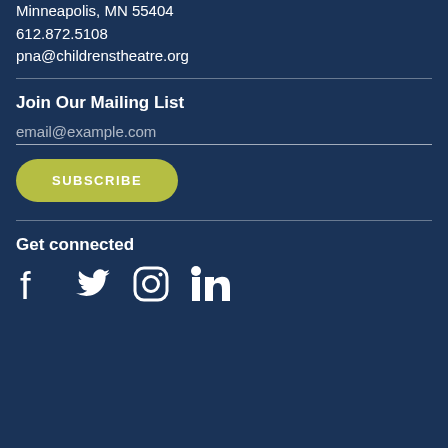Minneapolis, MN 55404
612.872.5108
pna@childrenstheatre.org
Join Our Mailing List
email@example.com
SUBSCRIBE
Get connected
[Figure (illustration): Social media icons: Facebook, Twitter, Instagram, LinkedIn]